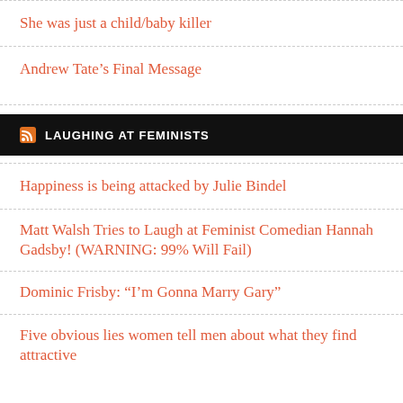She was just a child/baby killer
Andrew Tate’s Final Message
LAUGHING AT FEMINISTS
Happiness is being attacked by Julie Bindel
Matt Walsh Tries to Laugh at Feminist Comedian Hannah Gadsby! (WARNING: 99% Will Fail)
Dominic Frisby: “I’m Gonna Marry Gary”
Five obvious lies women tell men about what they find attractive